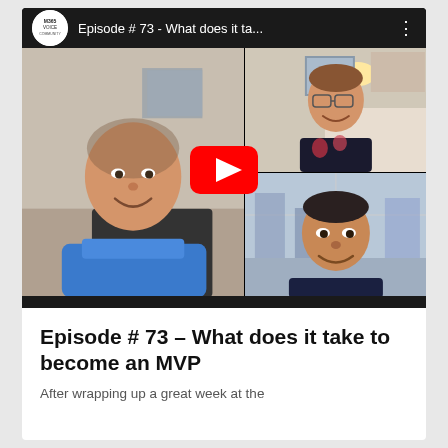[Figure (screenshot): YouTube video embed showing a video call with three participants: a man in a blue shirt on the left panel, a woman with glasses in the top-right panel, and a man in dark clothing in the bottom-right panel. A red YouTube play button is overlaid in the center. The top bar shows the channel logo and title 'Episode # 73 - What does it ta...']
Episode # 73 – What does it take to become an MVP
After wrapping up a great week at the